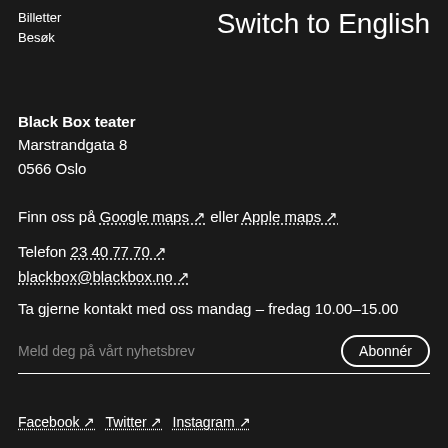Billetter
Besøk
Switch to English
Black Box teater
Marstrandgata 8
0566 Oslo
Finn oss på Google maps ↗ eller Apple maps ↗
Telefon 23 40 77 70 ↗
blackbox@blackbox.no ↗
Ta gjerne kontakt med oss mandag – fredag 10.00–15.00
Meld deg på vårt nyhetsbrev
Facebook ↗  Twitter ↗  Instagram ↗